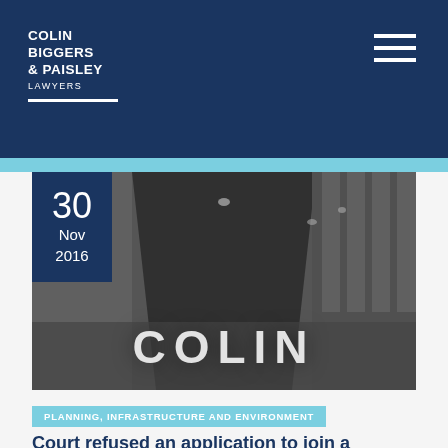COLIN BIGGERS & PAISLEY LAWYERS
[Figure (photo): Grayscale interior photo of a modern conference room or office with ceiling lights and floor-to-ceiling windows, overlaid with the word COLIN in large white letters. A date box in the top-left corner shows 30 Nov 2016.]
PLANNING, INFRASTRUCTURE AND ENVIRONMENT
Court refused an application to join a permissible change proceeding as all of